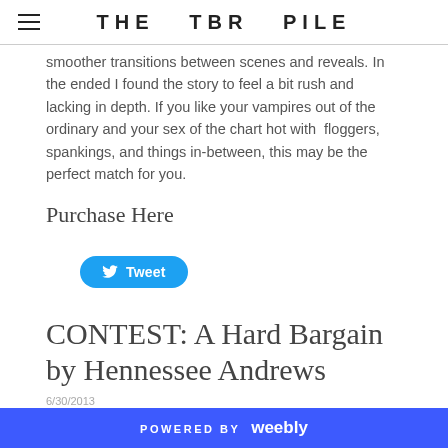THE TBR PILE
smoother transitions between scenes and reveals. In the ended I found the story to feel a bit rush and lacking in depth. If you like your vampires out of the ordinary and your sex of the chart hot with  floggers, spankings, and things in-between, this may be the perfect match for you.
Purchase Here
[Figure (other): Tweet button with Twitter bird icon]
CONTEST: A Hard Bargain by Hennessee Andrews
6/30/2013
POWERED BY weebly